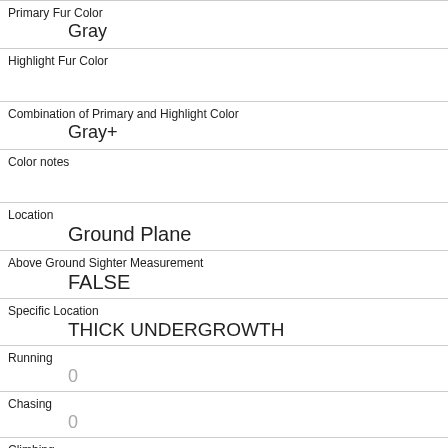| Primary Fur Color | Gray |
| Highlight Fur Color |  |
| Combination of Primary and Highlight Color | Gray+ |
| Color notes |  |
| Location | Ground Plane |
| Above Ground Sighter Measurement | FALSE |
| Specific Location | THICK UNDERGROWTH |
| Running | 0 |
| Chasing | 0 |
| Climbing | 0 |